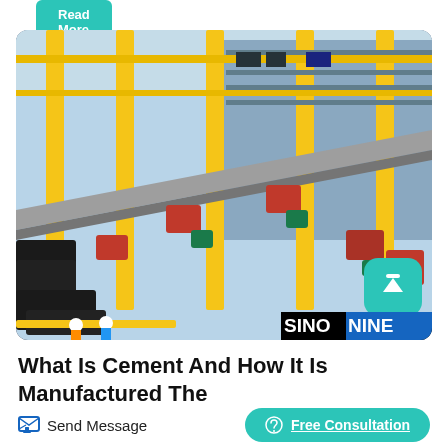Read More
[Figure (photo): Industrial mining/cement conveyor facility interior with yellow steel structure frames, multiple conveyor belts, red hoppers, and green motors. SINONINE watermark visible at bottom right.]
What Is Cement And How It Is Manufactured The
Send Message | Free Consultation